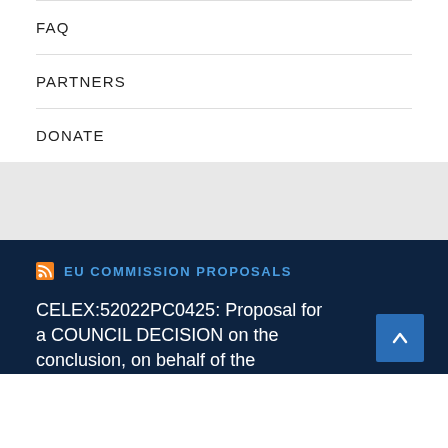FAQ
PARTNERS
DONATE
EU COMMISSION PROPOSALS
CELEX:52022PC0425: Proposal for a COUNCIL DECISION on the conclusion, on behalf of the